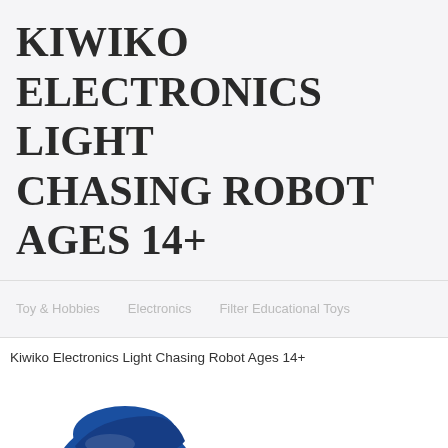KIWIKO ELECTRONICS LIGHT CHASING ROBOT AGES 14+
Toy & Hobbies   Electronics   Filter Educational Toys
Kiwiko Electronics Light Chasing Robot Ages 14+
[Figure (photo): Blue robot toy resembling a chameleon or dinosaur head with light blue scale markings, camera-like eye, and mechanical body parts, shown from the front-left angle]